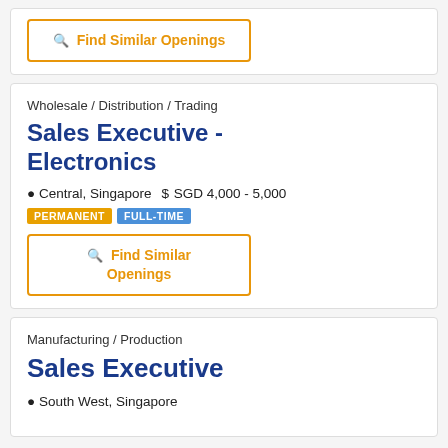Find Similar Openings
Wholesale / Distribution / Trading
Sales Executive - Electronics
Central, Singapore   $ SGD 4,000 - 5,000
PERMANENT   FULL-TIME
Find Similar Openings
Manufacturing / Production
Sales Executive
South West, Singapore